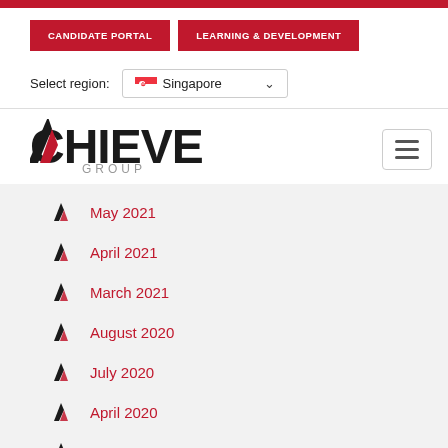CANDIDATE PORTAL | LEARNING & DEVELOPMENT
Select region: Singapore
[Figure (logo): Achieve Group logo with red chevron A and grey GROUP text]
May 2021
April 2021
March 2021
August 2020
July 2020
April 2020
January 2020
September 2019